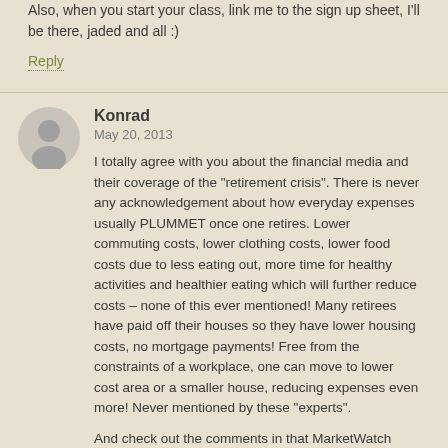Also, when you start your class, link me to the sign up sheet, I'll be there, jaded and all :)
Reply
Konrad
May 20, 2013
I totally agree with you about the financial media and their coverage of the "retirement crisis". There is never any acknowledgement about how everyday expenses usually PLUMMET once one retires. Lower commuting costs, lower clothing costs, lower food costs due to less eating out, more time for healthy activities and healthier eating which will further reduce costs – none of this ever mentioned! Many retirees have paid off their houses so they have lower housing costs, no mortgage payments! Free from the constraints of a workplace, one can move to lower cost area or a smaller house, reducing expenses even more! Never mentioned by these "experts".
And check out the comments in that MarketWatch article that MMM linked. The usual "health care